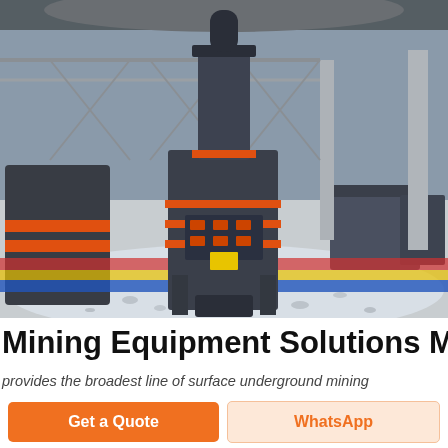[Figure (photo): Industrial mining equipment in a large factory warehouse. A tall vertical crusher machine with orange/red accent bands is positioned centrally on white gravel. Additional crushing machines are visible on the left and right sides. The building has a steel-truss roof structure. Colorful floor markings (red, yellow, blue) are visible in the background.]
Mining Equipment Solutions Mining
provides the broadest line of surface underground mining
Get a Quote
WhatsApp